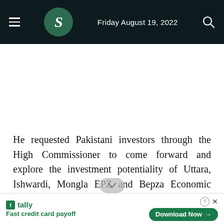Friday August 19, 2022
He requested Pakistani investors through the High Commissioner to come forward and explore the investment potentiality of Uttara, Ishwardi, Mongla EPZ and Bepza Economic Zone as well to invest in diversified products.
[Figure (other): Advertisement banner for Tally app — Fast credit card payoff — Download Now button]